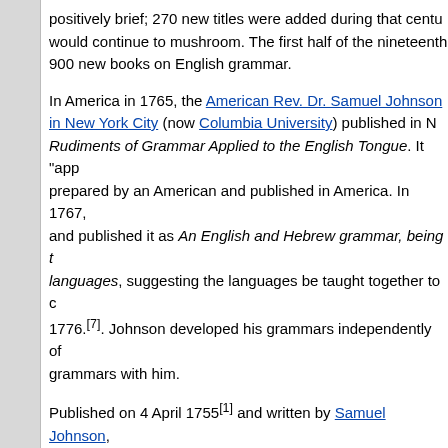positively brief; 270 new titles were added during that centu would continue to mushroom. The first half of the nineteenth 900 new books on English grammar.
In America in 1765, the American Rev. Dr. Samuel Johnson in New York City (now Columbia University) published in N Rudiments of Grammar Applied to the English Tongue. It "app prepared by an American and published in America. In 1767, and published it as An English and Hebrew grammar, being t languages, suggesting the languages be taught together to c 1776.[7]. Johnson developed his grammars independently of grammars with him.
Published on 4 April 1755[1] and written by Samuel Johnson, sometimes published as Johnson's Dictionary, is among th the English language.
There was dissatisfaction with the dictionaries of the period, s contracted Johnson to write a dictionary for the sum of 1,500 £220,000 in 2018.[2] Johnson took seven years to complete th finish it in three. He did so single-handedly, with only clerical a that he had marked in books. Johnson produced several revisi
Until the completion of the Oxford English Dictionary 173 yea